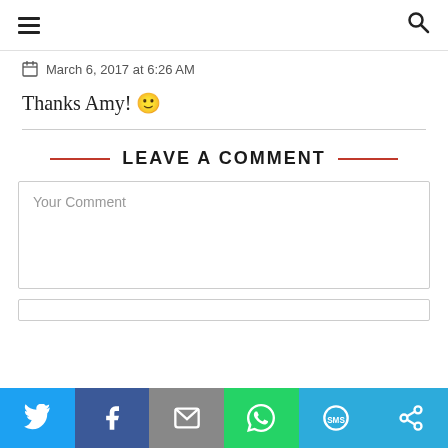Navigation header with hamburger menu and search icon
March 6, 2017 at 6:26 AM
Thanks Amy! 🙂
LEAVE A COMMENT
Your Comment
[Figure (screenshot): Social share bar with Twitter, Facebook, Email, WhatsApp, SMS, and other sharing icons]